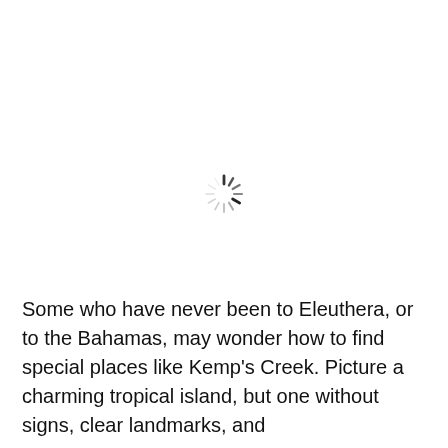[Figure (other): A loading spinner icon (sunburst/radial lines pattern) centered in the upper portion of the page, indicating content is loading.]
Some who have never been to Eleuthera, or to the Bahamas, may wonder how to find special places like Kemp's Creek. Picture a charming tropical island, but one without signs, clear landmarks, and